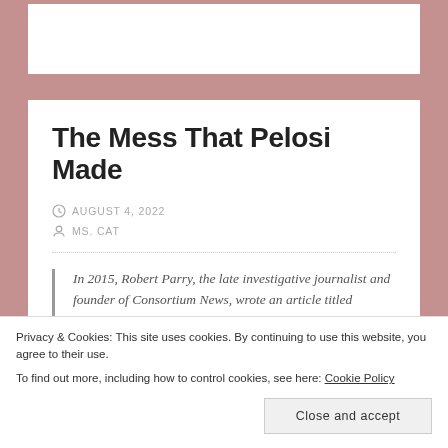The Mess That Pelosi Made
AUGUST 4, 2022
MS. CAT
In 2015, Robert Parry, the late investigative journalist and founder of Consortium News, wrote an article titled
Privacy & Cookies: This site uses cookies. By continuing to use this website, you agree to their use.
To find out more, including how to control cookies, see here: Cookie Policy